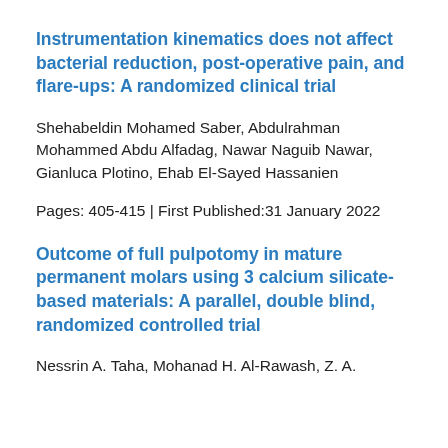Instrumentation kinematics does not affect bacterial reduction, post-operative pain, and flare-ups: A randomized clinical trial
Shehabeldin Mohamed Saber, Abdulrahman Mohammed Abdu Alfadag, Nawar Naguib Nawar, Gianluca Plotino, Ehab El-Sayed Hassanien
Pages: 405-415 | First Published:31 January 2022
Outcome of full pulpotomy in mature permanent molars using 3 calcium silicate-based materials: A parallel, double blind, randomized controlled trial
Nessrin A. Taha, Mohanad H. Al-Rawash, Z. A.